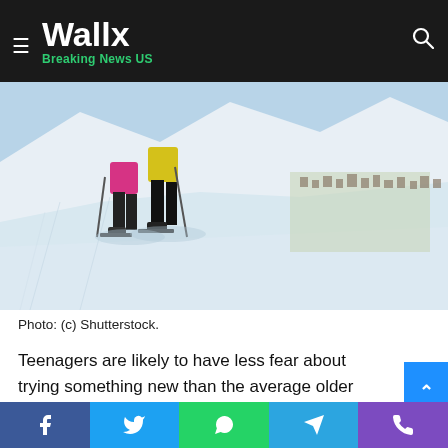Wallx Breaking News US
[Figure (photo): Two skiers standing on a snowy ski slope with a mountain village visible in the background. One skier wears a pink jacket, the other a yellow jacket.]
Photo: (c) Shutterstock.
Teenagers are likely to have less fear about trying something new than the average older skier, but you should still try to organise a taster lesson or a course at an indoor ski slope before you set off for the snow. Just one session will probably be enough for your kids to see just how much fun skiing is and
Social share bar: Facebook, Twitter, WhatsApp, Telegram, Phone